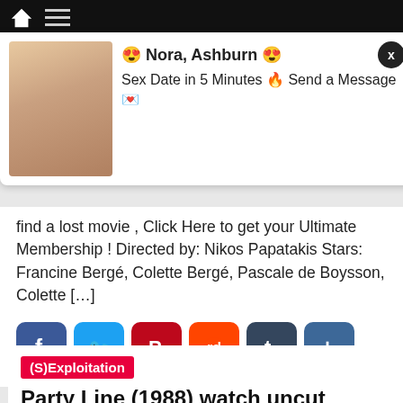[Figure (screenshot): Advertisement overlay with photo and text: Nora, Ashburn. Sex Date in 5 Minutes. Send a Message.]
find a lost movie , Click Here to get your Ultimate Membership ! Directed by: Nikos Papatakis Stars: Francine Bergé, Colette Bergé, Pascale de Boysson, Colette […]
[Figure (infographic): Social share buttons: Facebook, Twitter, Pinterest, Reddit, Tumblr, More]
(S)Exploitation
Party Line (1988) watch uncut
MoCuishle  4 months ago